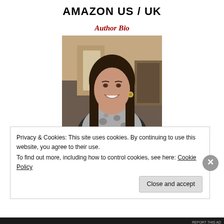AMAZON US / UK
Author Bio
[Figure (photo): Author photo: a young woman with long dark brown hair, smiling, wearing a grey patterned scarf and dark top, with dangling earrings. Indoor setting with warm-toned background.]
Privacy & Cookies: This site uses cookies. By continuing to use this website, you agree to their use.
To find out more, including how to control cookies, see here: Cookie Policy
Close and accept